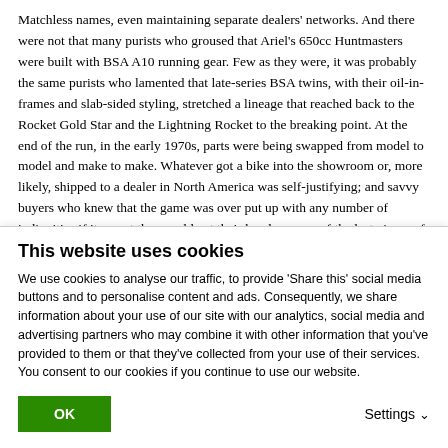Matchless names, even maintaining separate dealers' networks. And there were not that many purists who groused that Ariel's 650cc Huntmasters were built with BSA A10 running gear. Few as they were, it was probably the same purists who lamented that late-series BSA twins, with their oil-in-frames and slab-sided styling, stretched a lineage that reached back to the Rocket Gold Star and the Lightning Rocket to the breaking point. At the end of the run, in the early 1970s, parts were being swapped from model to model and make to make. Whatever got a bike into the showroom or, more likely, shipped to a dealer in North America was self-justifying; and savvy buyers who knew that the game was over put up with any number of indignities if it meant they could get their hands on one of the last pieces of British iron they expected to see.

It is not sourcing and branding that will determine if the big British parallel twin, or its evolutionary descendants wherever they are being
This website uses cookies
We use cookies to analyse our traffic, to provide 'Share this' social media buttons and to personalise content and ads. Consequently, we share information about your use of our site with our analytics, social media and advertising partners who may combine it with other information that you've provided to them or that they've collected from your use of their services. You consent to our cookies if you continue to use our website.